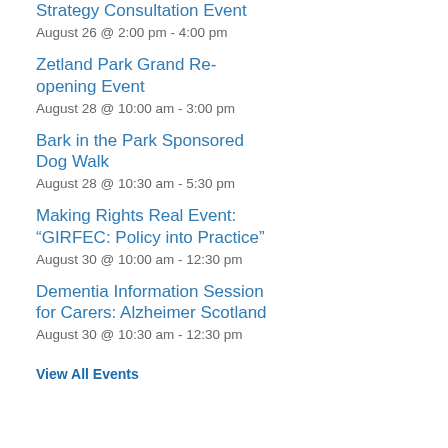Strategy Consultation Event
August 26 @ 2:00 pm - 4:00 pm
Zetland Park Grand Re-opening Event
August 28 @ 10:00 am - 3:00 pm
Bark in the Park Sponsored Dog Walk
August 28 @ 10:30 am - 5:30 pm
Making Rights Real Event: “GIRFEC: Policy into Practice”
August 30 @ 10:00 am - 12:30 pm
Dementia Information Session for Carers: Alzheimer Scotland
August 30 @ 10:30 am - 12:30 pm
View All Events